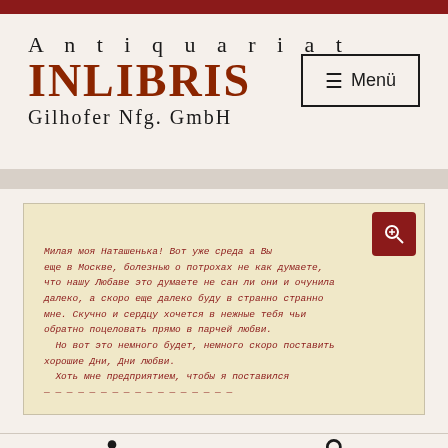Antiquariat INLIBRIS Gilhofer Nfg. GmbH
[Figure (photo): Handwritten manuscript letter in red ink, in Russian cursive script, on cream/yellowish paper. A red square zoom button is visible in the top-right corner of the image.]
User icon and Search icon navigation